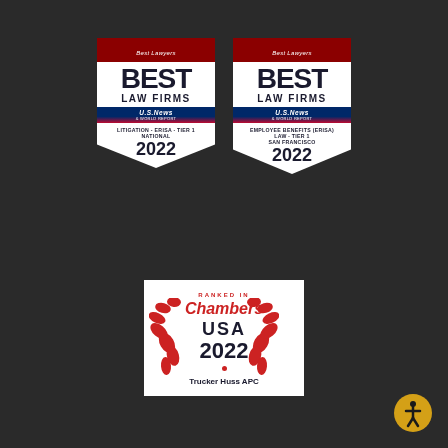[Figure (logo): Best Lawyers Best Law Firms U.S. News & World Report badge - Litigation ERISA Tier 1 National 2022]
[Figure (logo): Best Lawyers Best Law Firms U.S. News & World Report badge - Employee Benefits (ERISA) Law Tier 1 San Francisco 2022]
[Figure (logo): Ranked In Chambers USA 2022 - Trucker Huss APC]
[Figure (logo): Accessibility icon - person in circle with golden background]